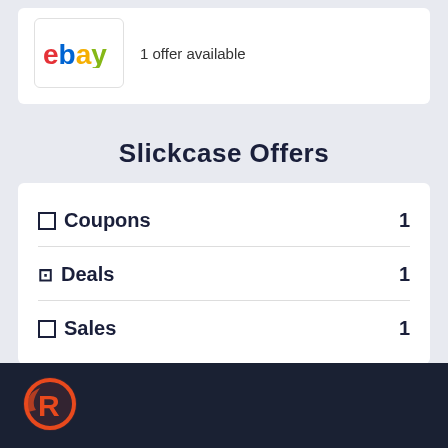[Figure (logo): eBay logo in a white rounded box]
1 offer available
Slickcase Offers
Coupons  1
Deals  1
Sales  1
[Figure (logo): Retailmenot R logo in orange/red on dark navy footer background]